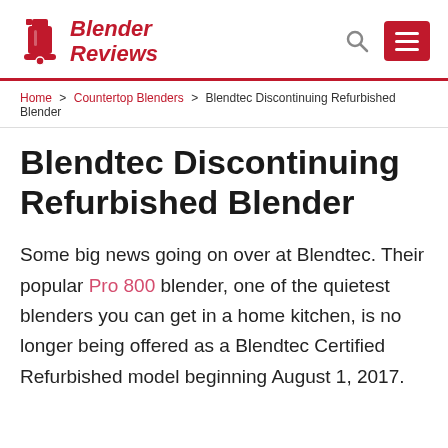Blender Reviews
Home > Countertop Blenders > Blendtec Discontinuing Refurbished Blender
Blendtec Discontinuing Refurbished Blender
Some big news going on over at Blendtec. Their popular Pro 800 blender, one of the quietest blenders you can get in a home kitchen, is no longer being offered as a Blendtec Certified Refurbished model beginning August 1, 2017.